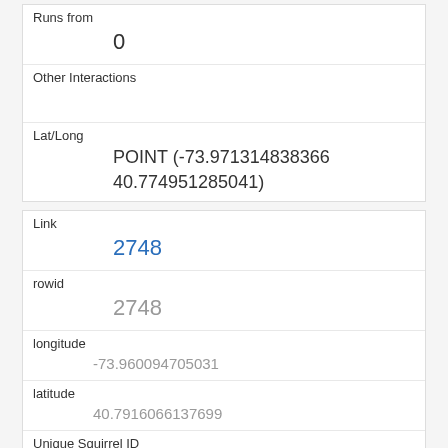| Runs from | 0 |
| Other Interactions |  |
| Lat/Long | POINT (-73.971314838366 40.774951285041) |
| Link | 2748 |
| rowid | 2748 |
| longitude | -73.960094705031 |
| latitude | 40.7916066137699 |
| Unique Squirrel ID | 33D-AM-1017-01 |
| Hectare | 33D |
| Shift | AM |